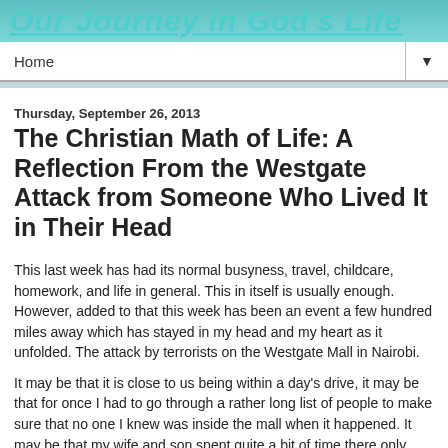Our Journey in God's Life
Home
Thursday, September 26, 2013
The Christian Math of Life: A Reflection From the Westgate Attack from Someone Who Lived It in Their Head
This last week has had its normal busyness, travel, childcare, homework, and life in general. This in itself is usually enough. However, added to that this week has been an event a few hundred miles away which has stayed in my head and my heart as it unfolded. The attack by terrorists on the Westgate Mall in Nairobi.
It may be that it is close to us being within a day's drive, it may be that for once I had to go through a rather long list of people to make sure that no one I knew was inside the mall when it happened. It may be that my wife and son spent quite a bit of time there only days before the attack started and that the pictures being